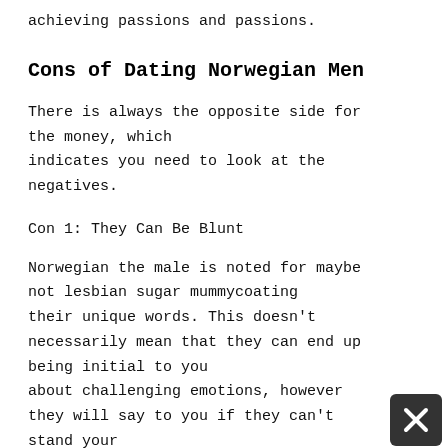achieving passions and passions.
Cons of Dating Norwegian Men
There is always the opposite side for the money, which indicates you need to look at the negatives.
Con 1: They Can Be Blunt
Norwegian the male is noted for maybe not lesbian sugar mummycoating their unique words. This doesn’t necessarily mean that they can end up being initial to you about challenging emotions, however they will say to you if they can’t stand your